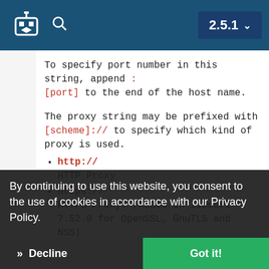2.5.1
To specify port number in this string, append :[port] to the end of the host name.
The proxy string may be prefixed with [scheme]:// to specify which kind of proxy is used.
http:// — HTTP Proxy
https:// — HTTPS Proxy. (Added in libcurl 7.52.0 for OpenSSL, GnuTLS and NSS)
socks4:// — SOCKS4 Proxy.
socks4a:// — SOCKS4a Proxy. Proxy resolves URL hostname.
By continuing to use this website, you consent to the use of cookies in accordance with our Privacy Policy.